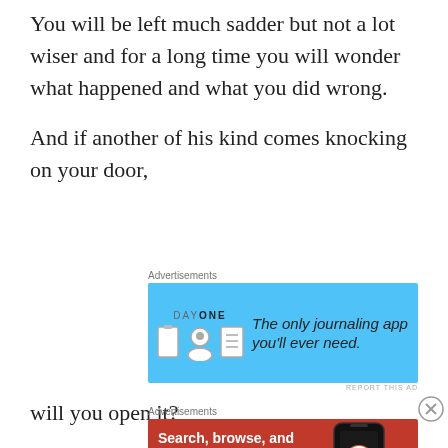You will be left much sadder but not a lot wiser and for a long time you will wonder what happened and what you did wrong.
And if another of his kind comes knocking on your door,
[Figure (other): DayOne journaling app advertisement banner with blue background, icons of door/person/notebook, tagline: The only journaling app you'll ever need.]
will you open it?
[Figure (other): DuckDuckGo app advertisement with orange/red background. Text: Search, browse, and email with more privacy. All in One Free App. Shows phone with DuckDuckGo logo.]